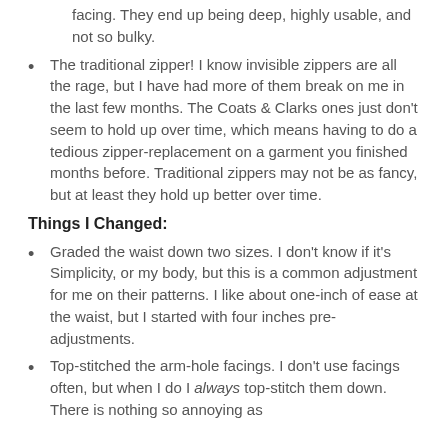facing. They end up being deep, highly usable, and not so bulky.
The traditional zipper! I know invisible zippers are all the rage, but I have had more of them break on me in the last few months. The Coats & Clarks ones just don't seem to hold up over time, which means having to do a tedious zipper-replacement on a garment you finished months before. Traditional zippers may not be as fancy, but at least they hold up better over time.
Things I Changed:
Graded the waist down two sizes. I don't know if it's Simplicity, or my body, but this is a common adjustment for me on their patterns. I like about one-inch of ease at the waist, but I started with four inches pre-adjustments.
Top-stitched the arm-hole facings. I don't use facings often, but when I do I always top-stitch them down. There is nothing so annoying as